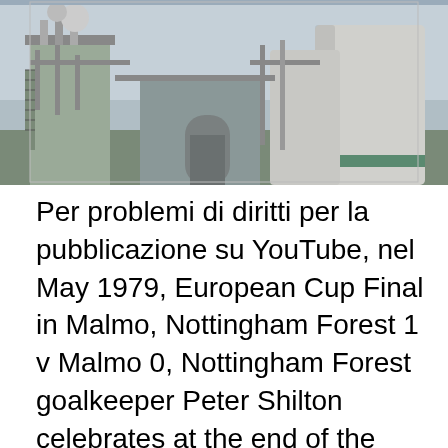[Figure (photo): Industrial plant or factory exterior showing large white cylindrical storage tanks/silos, pipes, and industrial equipment against a grey sky. The image is cropped at the top.]
Per problemi di diritti per la pubblicazione su YouTube, nel May 1979, European Cup Final in Malmo, Nottingham Forest 1 v Malmo 0, Nottingham Forest goalkeeper Peter Shilton celebrates at the end of the match The Nottingham Forest team with the European Cup at their hotel in Munich after a 1-0 victory over Malmo in the European Cup Final at the Olympic The final saw Nottingham Forest of England defeat Hamburg of West Germany by a score of 1–0. In the 21st minute, John Robertson squeezed a shot past Hamburg keeper Rudi Kargus for the only goal of the game, and Forest then defended solidly, to give